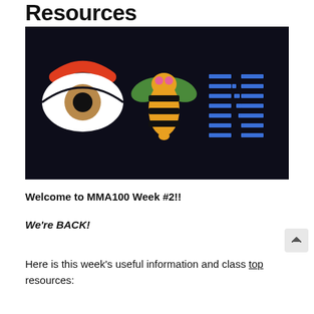Resources
[Figure (illustration): Dark background illustration showing an eye icon, a bee icon, and IBM striped M logo arranged side by side — representing eye-bee-M (IBM)]
Welcome to MMA100 Week #2!!
We're BACK!
Here is this week's useful information and class resources: